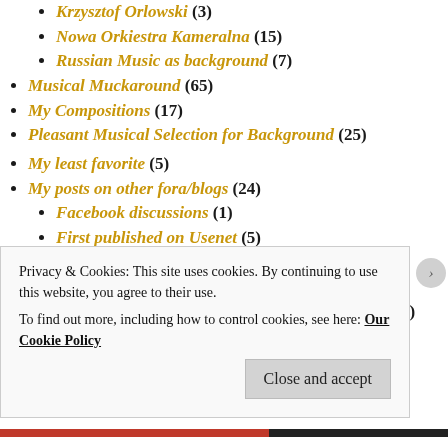Krzysztof Orlowski (3)
Nowa Orkiestra Kameralna (15)
Russian Music as background (7)
Musical Muckaround (65)
My Compositions (17)
Pleasant Musical Selection for Background (25)
My least favorite (5)
My posts on other fora/blogs (24)
Facebook discussions (1)
First published on Usenet (5)
Huliganov and Friends (1)
Skype chat snippets (2)
Telegraph Creative Writing Competition Entries (5)
My Stories (8)
Open Letters to VIPs (1)
Other (26)
Privacy & Cookies: This site uses cookies. By continuing to use this website, you agree to their use.
To find out more, including how to control cookies, see here: Our Cookie Policy
Close and accept